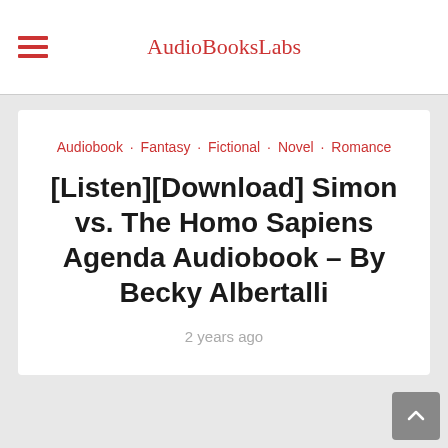AudioBooksLabs
Audiobook · Fantasy · Fictional · Novel · Romance
[Listen][Download] Simon vs. The Homo Sapiens Agenda Audiobook – By Becky Albertalli
2 years ago